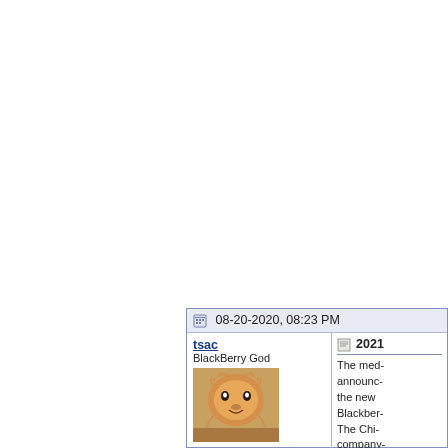[Figure (other): A grey-blue button with text CLOSED in white bold letters, with a notch on the right side]
| 08-20-2020, 08:23 PM |
| tsac | BlackBerry God | [avatar: cat photo] | Join Date: Mar 2005 | Location: Others run out when we run in | Model: Z10 | OS: Cheerios | 2021 | The med- announc- the new Blackber- The Chi- company- who ow- product l- released minimal- informat- |